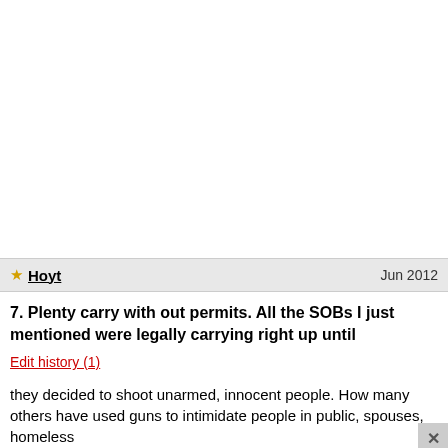7. Plenty carry with out permits. All the SOBs I just mentioned were legally carrying right up until
Edit history (1)
they decided to shoot unarmed, innocent people. How many others have used guns to intimidate people in public, spouses, homeless